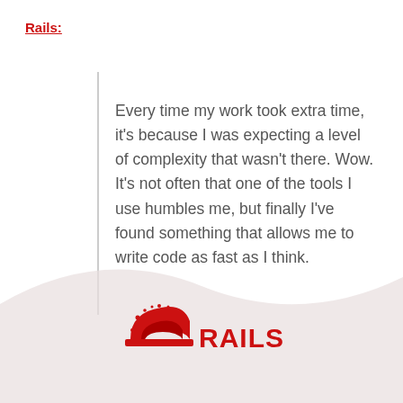Rails:
Every time my work took extra time, it's because I was expecting a level of complexity that wasn't there. Wow. It's not often that one of the tools I use humbles me, but finally I've found something that allows me to write code as fast as I think.
[Figure (logo): Ruby on Rails logo — red curved rail icon with sparkles and bold red 'RAILS' text]